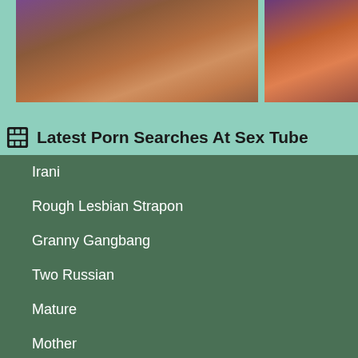[Figure (photo): Two partially visible photo thumbnails side by side showing blurry reddish-brown and purple-toned imagery on a mint green background]
Latest Porn Searches At Sex Tube
Irani
Rough Lesbian Strapon
Granny Gangbang
Two Russian
Mature
Mother
Smokin'
Thick Cock
Jillian
Student